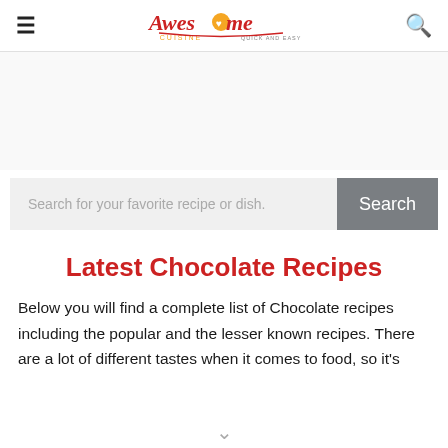Awesome Cuisine — Quick and Easy Recipes
[Figure (logo): Awesome Cuisine logo with text 'Quick and Easy Recipes']
Search for your favorite recipe or dish.
Latest Chocolate Recipes
Below you will find a complete list of Chocolate recipes including the popular and the lesser known recipes. There are a lot of different tastes when it comes to food, so it's